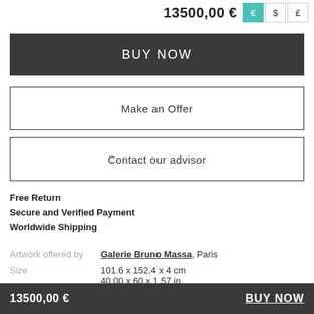13500,00 €
BUY NOW
Make an Offer
Contact our advisor
Free Return
Secure and Verified Payment
Worldwide Shipping
Artwork offered by   Galerie Bruno Massa, Paris
Size   101.6 x 152.4 x 4 cm
40.00 x 60 x 1.57 in
13500,00 €   BUY NOW